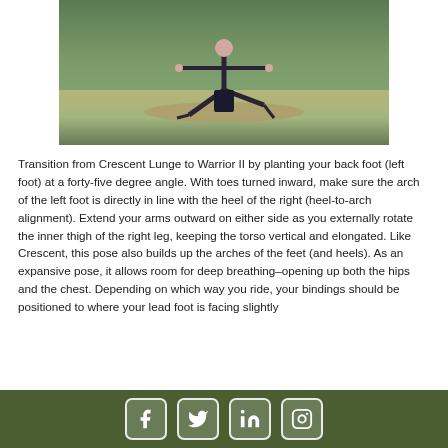[Figure (photo): Person performing a yoga warrior pose outdoors on a mat on grass]
Transition from Crescent Lunge to Warrior II by planting your back foot (left foot) at a forty-five degree angle. With toes turned inward, make sure the arch of the left foot is directly in line with the heel of the right (heel-to-arch alignment). Extend your arms outward on either side as you externally rotate the inner thigh of the right leg, keeping the torso vertical and elongated. Like Crescent, this pose also builds up the arches of the feet (and heels). As an expansive pose, it allows room for deep breathing–opening up both the hips and the chest. Depending on which way you ride, your bindings should be positioned to where your lead foot is facing slightly
[Figure (other): Social media icons: Facebook, Twitter, LinkedIn, Instagram in a dark green footer bar]